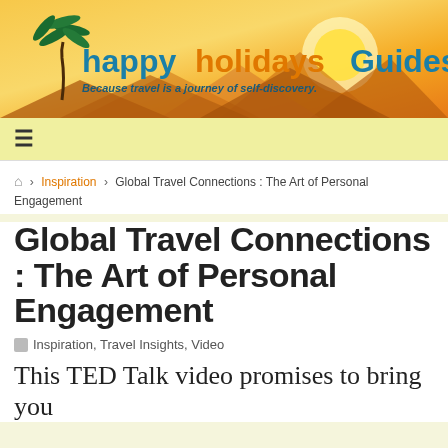[Figure (logo): Happy Holidays Guides banner with palm tree, orange/yellow sunset gradient background, mountains silhouette, and tagline 'Because travel is a journey of self-discovery.']
≡
🏠 › Inspiration › Global Travel Connections : The Art of Personal Engagement
Global Travel Connections : The Art of Personal Engagement
Inspiration, Travel Insights, Video
This TED Talk video promises to bring you